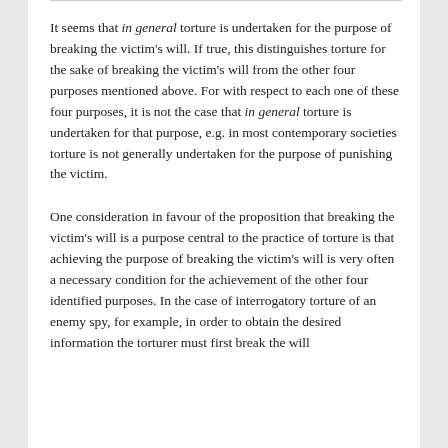It seems that in general torture is undertaken for the purpose of breaking the victim's will. If true, this distinguishes torture for the sake of breaking the victim's will from the other four purposes mentioned above. For with respect to each one of these four purposes, it is not the case that in general torture is undertaken for that purpose, e.g. in most contemporary societies torture is not generally undertaken for the purpose of punishing the victim.
One consideration in favour of the proposition that breaking the victim's will is a purpose central to the practice of torture is that achieving the purpose of breaking the victim's will is very often a necessary condition for the achievement of the other four identified purposes. In the case of interrogatory torture of an enemy spy, for example, in order to obtain the desired information the torturer must first break the will